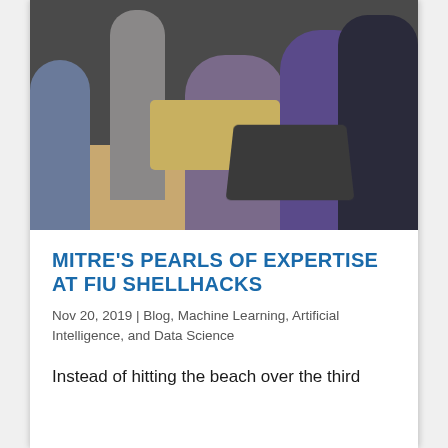[Figure (photo): Group of students and participants gathered around laptops at a table during FIU ShellHacks hackathon event. Several people are standing and sitting, working on computers. Camera equipment visible in background.]
MITRE'S PEARLS OF EXPERTISE AT FIU SHELLHACKS
Nov 20, 2019 | Blog, Machine Learning, Artificial Intelligence, and Data Science
Instead of hitting the beach over the third